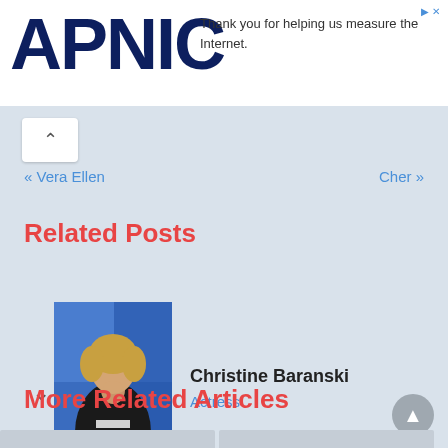[Figure (logo): APNIC logo in dark navy blue bold text]
Thank you for helping us measure the Internet.
« Vera Ellen
Cher »
Related Posts
[Figure (photo): Photo of Christine Baranski, actress, seated in dark outfit with blonde hair]
Christine Baranski
Actress
More Related Articles